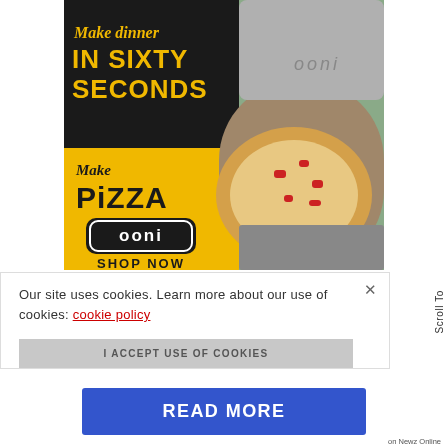[Figure (photo): Ooni pizza oven advertisement showing a pizza being made in sixty seconds. Dark background top section with yellow text 'Make dinner IN SIXTY SECONDS', yellow lower left panel with 'Make PIZZA' and Ooni logo with 'SHOP NOW', right side shows photo of pizza on Ooni oven peel.]
Our site uses cookies. Learn more about our use of cookies: cookie policy
I ACCEPT USE OF COOKIES
READ MORE
Scroll To
on Newz Online